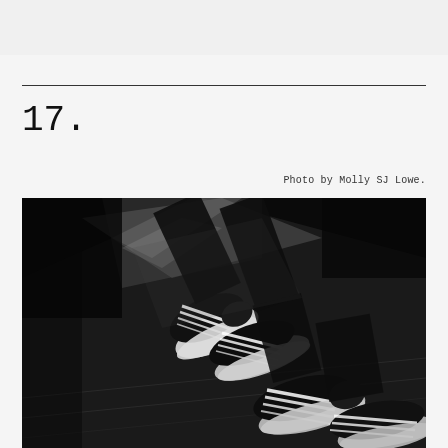17.
Photo by Molly SJ Lowe.
[Figure (photo): Black and white photograph of two pairs of feet wearing striped black and white sneakers (Vans style) on what appears to be a wooden surface or stairs, taken from above at an angle. The image is high contrast monochrome.]